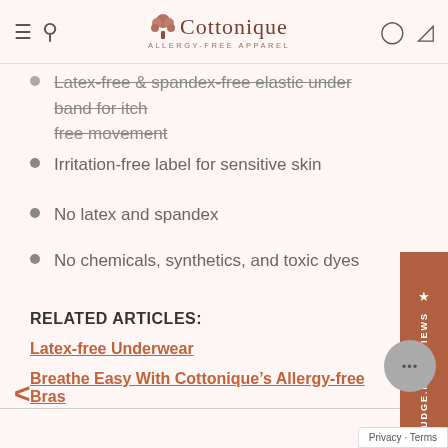Cottonique ALLERGY-FREE APPAREL
Latex-free & spandex-free elastic under band for itch free movement
Irritation-free label for sensitive skin
No latex and spandex
No chemicals, synthetics, and toxic dyes
RELATED ARTICLES:
Latex-free Underwear
Breathe Easy With Cottonique’s Allergy-free Bras